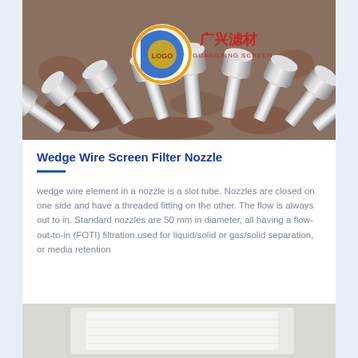[Figure (photo): Product photo showing multiple stainless steel wedge wire screen filter nozzles arranged in a fan pattern on a rustic surface. A company logo with Chinese text '广兴滤材 GUANGXING SCREEN' is visible.]
Wedge Wire Screen Filter Nozzle
wedge wire element in a nozzle is a slot tube. Nozzles are closed on one side and have a threaded fitting on the other. The flow is always out to in. Standard nozzles are 50 mm in diameter, all having a flow-out-to-in (FOTI) filtration.used for liquid/solid or gas/solid separation, or media retention
[Figure (photo): Partial view of a second product image at the bottom of the page, showing a white/light colored filter element.]